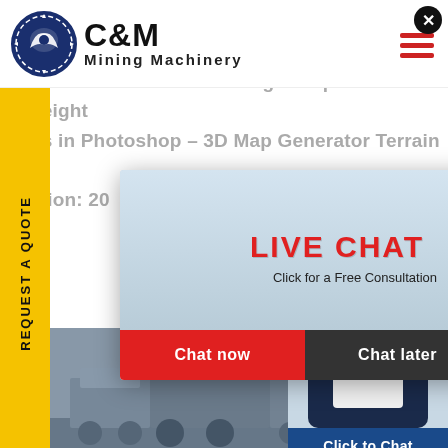[Figure (logo): C&M Mining Machinery logo with circular eagle gear emblem and company name]
Sep 24, 2017 - Acc Teluk Lamong East Java How to ate a 3D Terrain with Google Maps and height ps in Photoshop – 3D Map Generator Terrain – ation: 20
[Figure (screenshot): Live Chat popup overlay showing workers in hard hats, LIVE CHAT text in red, Click for a Free Consultation subtitle, Chat now (red button) and Chat later (dark button) options]
[Figure (screenshot): Right side chat widget showing Hours Online banner, female agent with headset, Click to Chat button, and Enquiry text]
REQUEST A QUOTE
[Figure (photo): Mining machinery equipment photo at bottom of page]